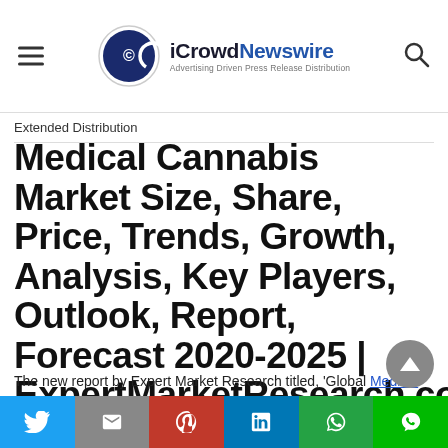iCrowdNewswire — Advertising Driven Press Release Distribution
Extended Distribution
Medical Cannabis Market Size, Share, Price, Trends, Growth, Analysis, Key Players, Outlook, Report, Forecast 2020-2025 | ExpertMarketResearch.com
The new report by Expert Market Research titled, 'Global Medical Cannabis Market Share, Price...